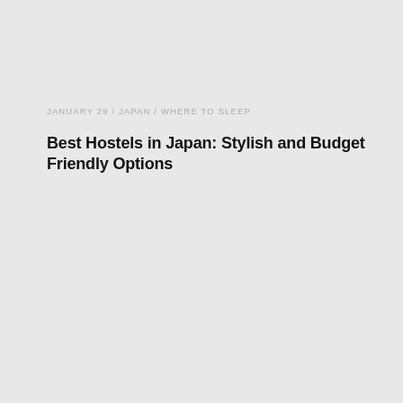JANUARY 29 / JAPAN / WHERE TO SLEEP
Best Hostels in Japan: Stylish and Budget Friendly Options